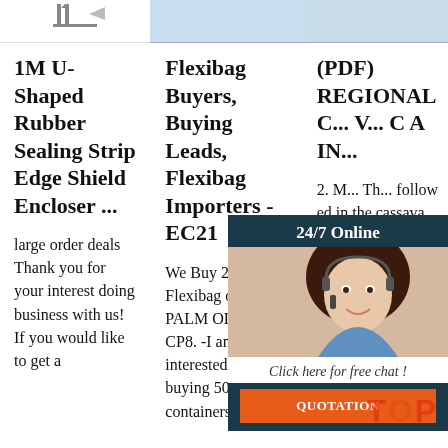[Figure (screenshot): Top image strip with three panels: left white with partial product image, center light blue partial screenshot, right light blue partial screenshot]
1M U-Shaped Rubber Sealing Strip Edge Shield Encloser ...
large order deals Thank you for your interest doing business with us! If you would like to get a
Flexibag Buyers, Buying Leads, Flexibag Importers - EC21
We Buy 21 Mt Flexibag of RBD PALM OLEIN CP8. -I am interested in buying 500 of 40' containers per
(PDF) REGIONAL C... V... C A IN...
2. M... Th... follow ed in the cassava value c hain analysis in Liberia are: (i) developing
[Figure (photo): Overlay panel with dark teal header reading '24/7 Online', photo of smiling woman with headset, text 'Click here for free chat!', orange QUOTATION button]
TOP